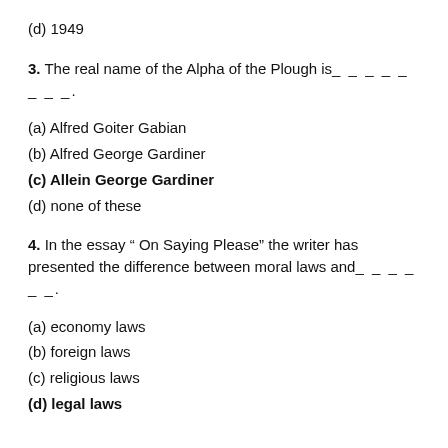(d) 1949
3. The real name of the Alpha of the Plough is _________.
(a) Alfred Goiter Gabian
(b) Alfred George Gardiner
(c) Allein George Gardiner
(d) none of these
4. In the essay " On Saying Please" the writer has presented the difference between moral laws and_______.
(a) economy laws
(b) foreign laws
(c) religious laws
(d) legal laws